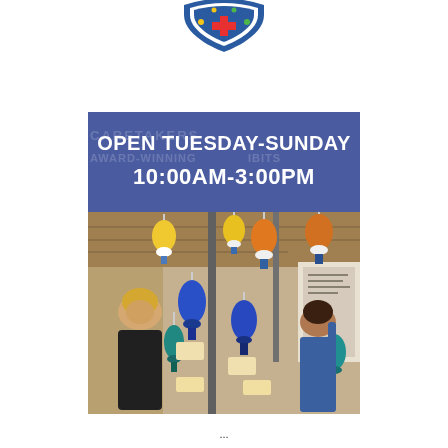[Figure (logo): Circular badge/shield logo with colorful design, partially visible at the top center of the page]
[Figure (photo): Museum interior photo with blue banner header reading 'OPEN TUESDAY-SUNDAY 10:00AM-3:00PM'. Below the banner, two women are visible among hanging buoy-like colorful sculptures (yellow, orange, blue, teal) suspended from the ceiling in a nautical museum exhibition space.]
...